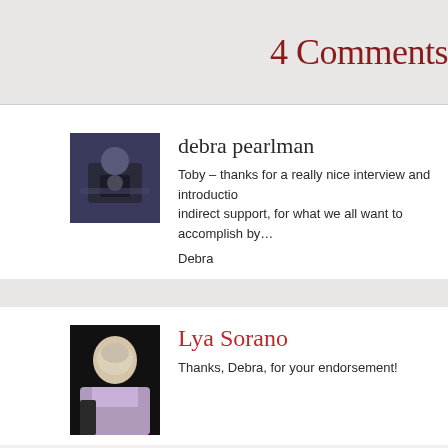4 Comments
debra pearlman
Toby – thanks for a really nice interview and introductio… indirect support, for what we all want to accomplish by…

Debra
Lya Sorano
Thanks, Debra, for your endorsement!